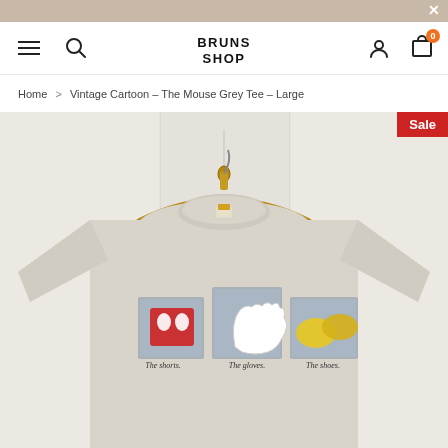BRUNS SHOP
Home > Vintage Cartoon - The Mouse Grey Tee - Large
[Figure (photo): A vintage heather grey t-shirt hanging on a wooden hanger against a white paneled wall. The shirt features three cartoon panels showing Mickey Mouse's iconic items: The shorts, The gloves, The shoes. A red 'Sale' badge appears in the top-right corner.]